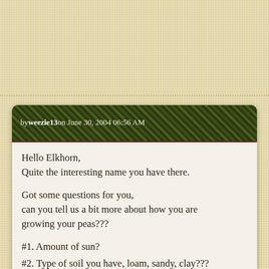by weezie13 on June 30, 2004 06:56 AM
Hello Elkhorn,
Quite the interesting name you have there.
Got some questions for you,
can you tell us a bit more about how you are growing your peas???
#1. Amount of sun?
#2. Type of soil you have, loam, sandy, clay???
#3. More questions coming? (irrigation of plants or not)